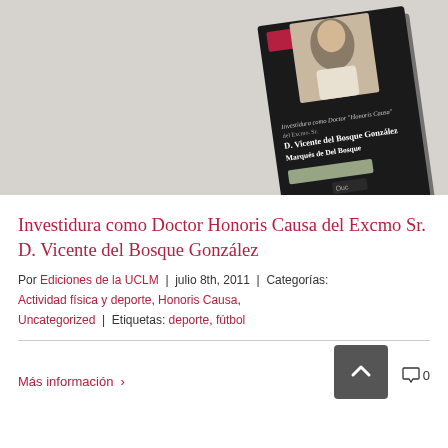[Figure (photo): Book cover for 'Investidura como Doctor Honoris Causa del Excmo. Sr. D. Vicente del Bosque González, Marqués de Del Bosque' shown at an angle on a grey background. The book has a dark cover with a portrait photo of a man on it.]
Investidura como Doctor Honoris Causa del Excmo Sr. D. Vicente del Bosque González
Por Ediciones de la UCLM  |  julio 8th, 2011  |  Categorías: Actividad física y deporte, Honoris Causa, Uncategorized  |  Etiquetas: deporte, fútbol
Más información  ›